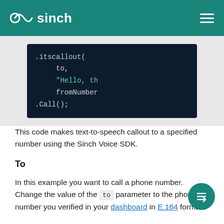sinch
[Figure (screenshot): Code snippet on dark background showing: .itscallout( to, "Hello, th fromNumber .Call();]
This code makes text-to-speech callout to a specified number using the Sinch Voice SDK.
To
In this example you want to call a phone number. Change the value of the `to` parameter to the phone number you verified in your dashboard in E.164 format.